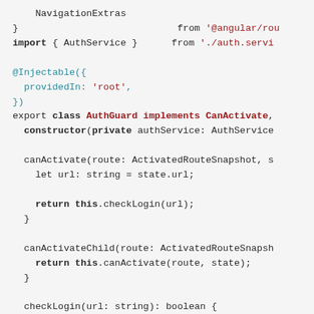[Figure (screenshot): TypeScript code snippet showing an AuthGuard class with @Injectable decorator, implementing CanActivate interface, with canActivate, canActivateChild, and checkLogin methods]